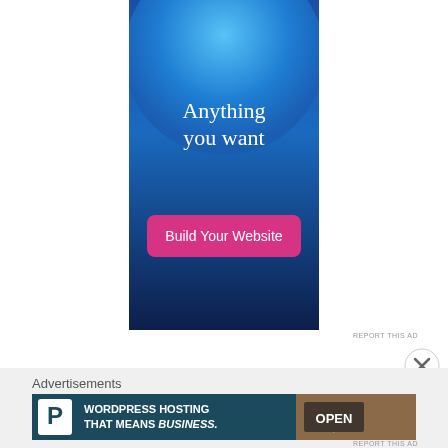[Figure (illustration): Advertisement banner with dark blue gradient background and large light blue circle. Text reads 'Anything you want' in white serif font. Pink/magenta rounded button labeled 'Build Your Website'.]
REPORT THIS AD
Advertisements
[Figure (illustration): WordPress hosting advertisement banner. Dark teal/navy background with white 'P' logo in a box on left. Text: 'WORDPRESS HOSTING THAT MEANS BUSINESS.' Right side shows photo of 'OPEN' sign.]
REPORT THIS AD